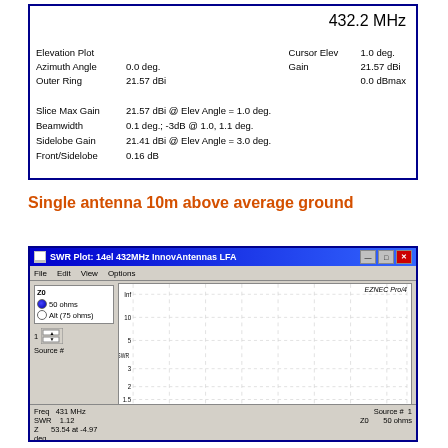[Figure (screenshot): Elevation Plot data panel showing antenna parameters at 432.2 MHz including azimuth angle 0.0 deg, outer ring 21.57 dBi, slice max gain 21.57 dBi @ Elev Angle = 1.0 deg, beamwidth 0.1 deg, sidelobe gain 21.41 dBi @ Elev Angle = 3.0 deg, front/sidelobe 0.16 dB, cursor elev 1.0 deg, gain 21.57 dBi, 0.0 dBmax]
Single antenna 10m above average ground
[Figure (screenshot): SWR Plot window for 14el 432MHz InnovAntennas LFA showing SWR vs frequency plot from 431 to 433 MHz. Z0 options: 50 ohms selected, Alt (75 ohms). Source # 1. The SWR line is near 1 across the frequency range. Status bar shows Freq 431 MHz, SWR 1.12, Z 53.54 at -4.97 deg, Source # 1, Z0 50 ohms. EZNEC Pro/4 label.]